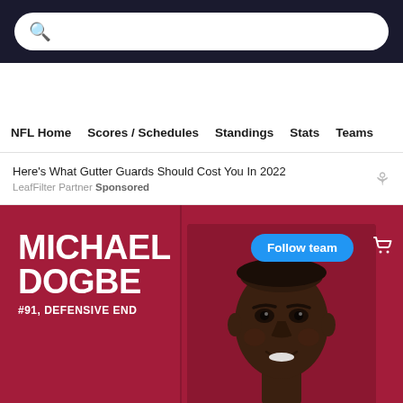Search bar header with dark background
NFL Home  Scores / Schedules  Standings  Stats  Teams
Here's What Gutter Guards Should Cost You In 2022
LeafFilter Partner Sponsored
[Figure (photo): Michael Dogbe NFL player headshot on dark red/crimson background. Player smiling, wearing dark top.]
MICHAEL DOGBE
#91, DEFENSIVE END